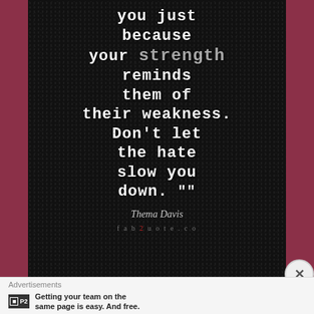[Figure (illustration): Dark textured background with motivational quote in white typewriter-style font: 'you just because your strength reminds them of their weakness. Don't let the hate slow you down.' attributed to Thema Davis, with fab2uote.co watermark. Flanked by dark red side bars.]
Advertisements
Getting your team on the same page is easy. And free.